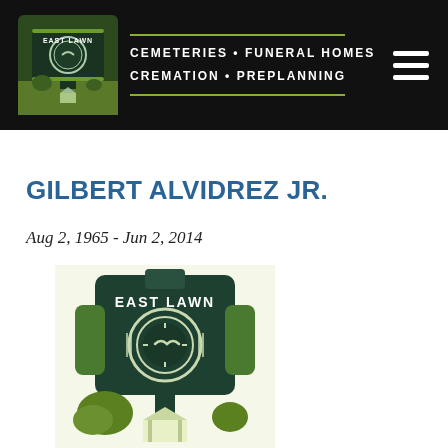[Figure (logo): East Lawn Cemeteries header logo showing a clock tower monument with a bird, green and dark background, in the top-left of the black navigation header bar]
CEMETERIES · FUNERAL HOMES CREMATION · PREPLANNING
GILBERT ALVIDREZ JR.
Aug 2, 1965 - Jun 2, 2014
[Figure (logo): East Lawn large logo showing a clock tower monument sign with 'EAST LAWN' text, clock face with bird silhouette, green and dark teal color scheme, trees and gazebo at base]